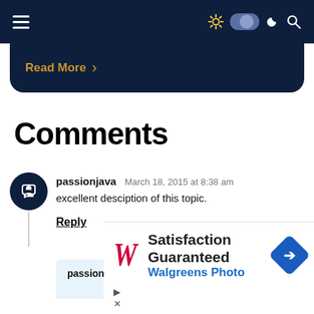≡  [nav icons: sun, toggle, moon, search]
Read More  >
Comments
passionjava   March 18, 2015 at 8:38 am
excellent desciption of this topic.
Reply
passionjava   March 18, 2015 at 8:42 am
[Figure (screenshot): Walgreens Photo advertisement: 'Satisfaction Guaranteed / Walgreens Photo' with red italic W logo and blue diamond arrow icon]